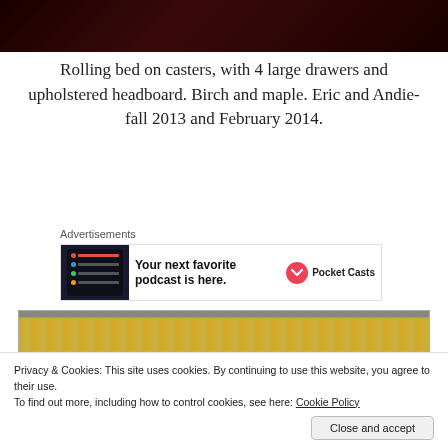[Figure (photo): Dark reddish-brown background image, partial view at top of page]
Rolling bed on casters, with 4 large drawers and upholstered headboard. Birch and maple. Eric and Andie- fall 2013 and February 2014.
[Figure (screenshot): Advertisement banner for Pocket Casts app. Shows phone with app screen on left, bold text 'Your next favorite podcast is here.' in center, Pocket Casts logo on right.]
[Figure (photo): Close-up photo of wooden furniture piece showing wood grain and dark border trim at top]
Privacy & Cookies: This site uses cookies. By continuing to use this website, you agree to their use.
To find out more, including how to control cookies, see here: Cookie Policy
Close and accept